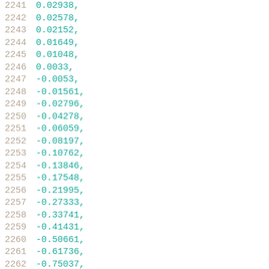2241    0.02938,
2242    0.02578,
2243    0.02152,
2244    0.01649,
2245    0.01048,
2246    0.0033,
2247    -0.0053,
2248    -0.01561,
2249    -0.02796,
2250    -0.04278,
2251    -0.06059,
2252    -0.08197,
2253    -0.10762,
2254    -0.13846,
2255    -0.17548,
2256    -0.21995,
2257    -0.27333,
2258    -0.33741,
2259    -0.41431,
2260    -0.50661,
2261    -0.61736,
2262    -0.75037,